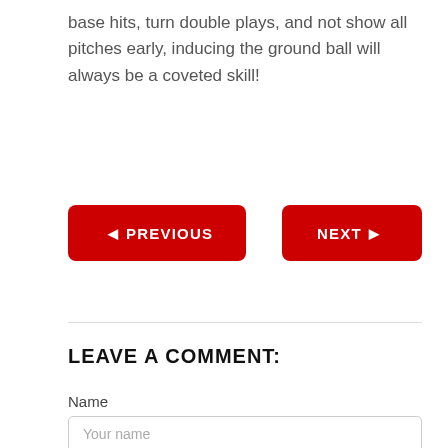base hits, turn double plays, and not show all pitches early, inducing the ground ball will always be a coveted skill!
◄ PREVIOUS
NEXT ►
LEAVE A COMMENT:
Name
Your name